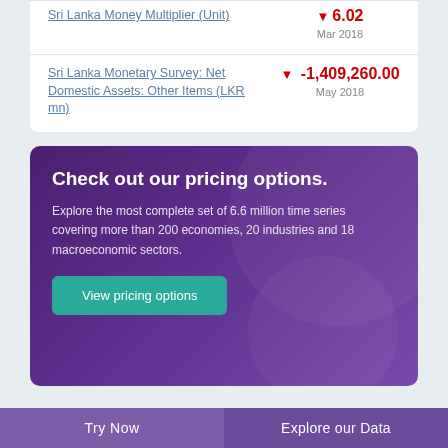Sri Lanka Money Multiplier (Unit) ▼ 6.02 Mar 2018
Sri Lanka Monetary Survey: Net Domestic Assets: Other Items (LKR mn) ▼ -1,409,260.00 May 2018
Check out our pricing options. Explore the most complete set of 6.6 million time series covering more than 200 economies, 20 industries and 18 macroeconomic sectors.
View pricing options
Try Now | Explore our Data